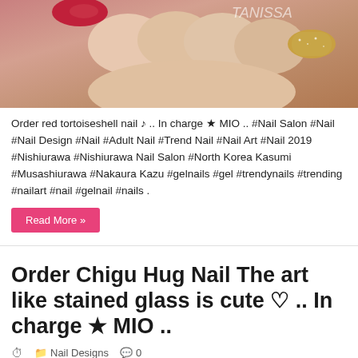[Figure (photo): Close-up photo of a fist showing decorated nails with red tortoiseshell design and gold glitter nail]
Order red tortoiseshell nail ♪ .. In charge ★ MIO .. #Nail Salon #Nail #Nail Design #Nail #Adult Nail #Trend Nail #Nail Art #Nail 2019 #Nishiurawa #Nishiurawa Nail Salon #North Korea Kasumi #Musashiurawa #Nakaura Kazu #gelnails #gel #trendynails #trending #nailart #nail #gelnail #nails .
Read More »
Order Chigu Hug Nail The art like stained glass is cute ♡ .. In charge ★ MIO ..
Nail Designs  0
[Figure (photo): Close-up photo of colorful nail designs including purple, stained glass, orange, and grey nails]